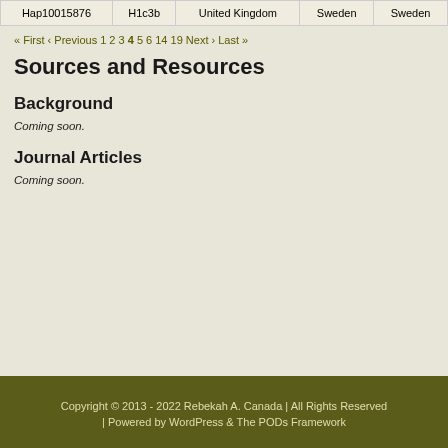|  |  |  |  |  |
| --- | --- | --- | --- | --- |
| Hap10015876 | H1c3b | United Kingdom | Sweden | Sweden |
« First ‹ Previous 1 2 3 4 5 6 14 19 Next › Last »
Sources and Resources
Background
Coming soon.
Journal Articles
Coming soon.
Copyright © 2013 - 2022 Rebekah A. Canada | All Rights Reserved | Powered by WordPress & The PODs Framework